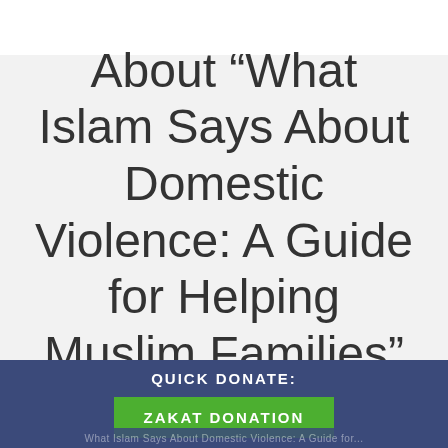About “What Islam Says About Domestic Violence: A Guide for Helping Muslim Families”
QUICK DONATE:
ZAKAT DONATION